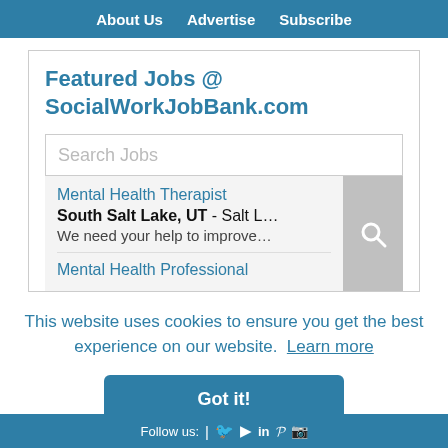About Us  Advertise  Subscribe
Featured Jobs @ SocialWorkJobBank.com
Search Jobs
Mental Health Therapist
South Salt Lake, UT - Salt L…
We need your help to improve…
Mental Health Professional
This website uses cookies to ensure you get the best experience on our website.  Learn more
Got it!
Follow us: | Twitter | YouTube | LinkedIn | Pinterest | Instagram